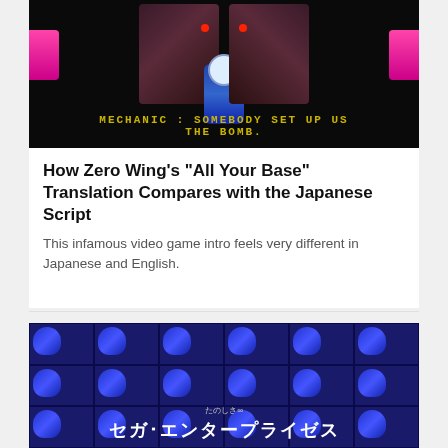[Figure (screenshot): Zero Wing video game screenshot showing robotic characters with text 'MECHANIC : SOMEBODY SET UP US THE BOMB.' on black background]
How Zero Wing’s “All Your Base” Translation Compares with the Japanese Script
This infamous video game intro feels very different in Japanese and English.
[Figure (screenshot): Sega Enterprises intro screen with repeated blue Sonic the Hedgehog sprite pattern and Japanese text 'たのしさ∞ セガ・エンタープライゼス' on black background]